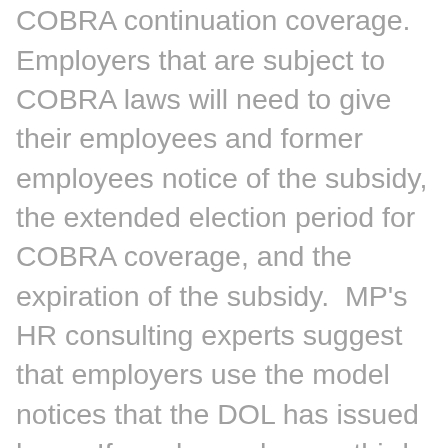notice that they can elect COBRA continuation coverage. Employers that are subject to COBRA laws will need to give their employees and former employees notice of the subsidy, the extended election period for COBRA coverage, and the expiration of the subsidy. MP's HR consulting experts suggest that employers use the model notices that the DOL has issued here. If employers have a third-party administrator (TPA) for their COBRA coverage, they should confirm that the TPA will send the required notices to eligible workers. They will likely need to designate a list of eligible workers to receive the required notices.